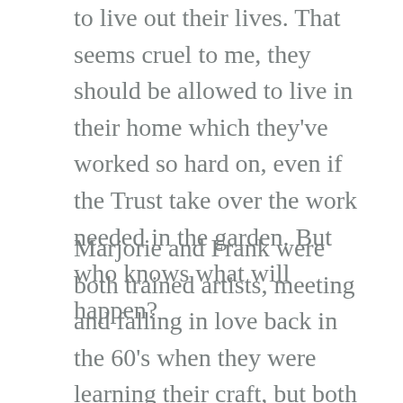to live out their lives. That seems cruel to me, they should be allowed to live in their home which they've worked so hard on, even if the Trust take over the work needed in the garden. But who knows what will happen?
Marjorie and Frank were both trained artists, meeting and falling in love back in the 60's when they were learning their craft, but both fell in love with gardening when living in their first home, a cottage on the Wallington Estate, where Marjorie's Dad was a stonemason. To cut a long story shortish, they were offered the